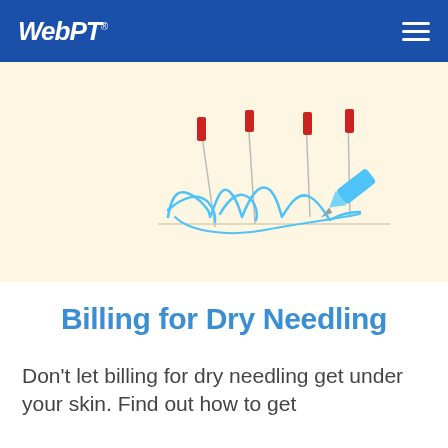WebPT
[Figure (illustration): Illustration of acupuncture/dry needling needles with red tops inserted at angles, alongside a hand holding a blue pen writing a cursive signature on a line, all on a cream/beige background.]
Billing for Dry Needling
Don't let billing for dry needling get under your skin. Find out how to get paid for this service and what to expect